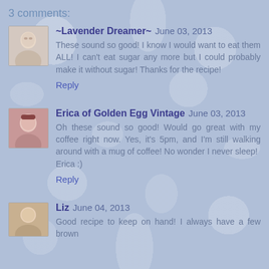3 comments:
~Lavender Dreamer~ June 03, 2013
These sound so good! I know I would want to eat them ALL! I can't eat sugar any more but I could probably make it without sugar! Thanks for the recipe!
Reply
Erica of Golden Egg Vintage June 03, 2013
Oh these sound so good! Would go great with my coffee right now. Yes, it's 5pm, and I'm still walking around with a mug of coffee! No wonder I never sleep!
Erica :)
Reply
Liz June 04, 2013
Good recipe to keep on hand! I always have a few brown